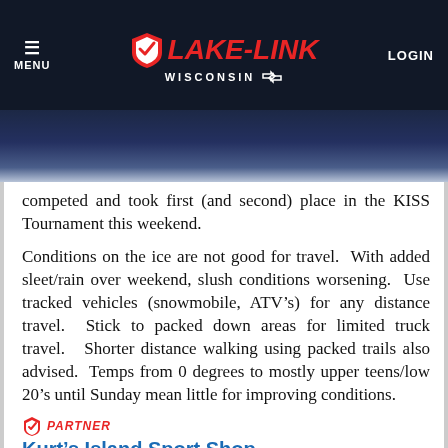MENU  LAKE-LINK  WISCONSIN  LOGIN
competed and took first (and second) place in the KISS Tournament this weekend.
Conditions on the ice are not good for travel.  With added sleet/rain over weekend, slush conditions worsening.  Use tracked vehicles (snowmobile, ATV’s) for any distance travel.  Stick to packed down areas for limited truck travel.   Shorter distance walking using packed trails also advised.  Temps from 0 degrees to mostly upper teens/low 20’s until Sunday mean little for improving conditions.
PARTNER
Kurt’s Island Sport Shop
(715) 356-4797